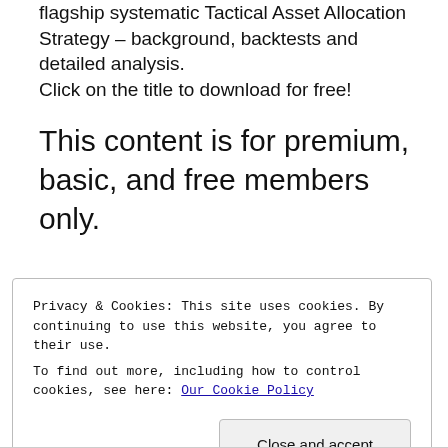flagship systematic Tactical Asset Allocation Strategy – background, backtests and detailed analysis. Click on the title to download for free!
This content is for premium, basic, and free members only.
Privacy & Cookies: This site uses cookies. By continuing to use this website, you agree to their use.
To find out more, including how to control cookies, see here: Our Cookie Policy
Close and accept